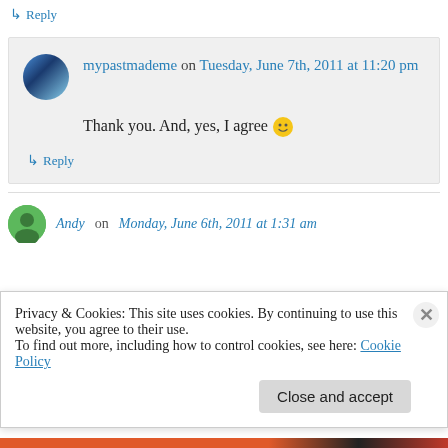↳ Reply
mypastmademe on Tuesday, June 7th, 2011 at 11:20 pm
Thank you. And, yes, I agree 🙂
↳ Reply
Andy on Monday, June 6th, 2011 at 1:31 am
Privacy & Cookies: This site uses cookies. By continuing to use this website, you agree to their use.
To find out more, including how to control cookies, see here: Cookie Policy
Close and accept